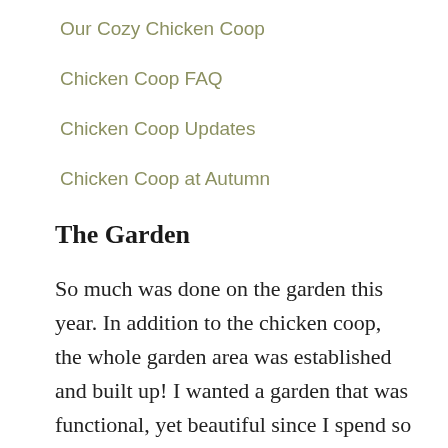Our Cozy Chicken Coop
Chicken Coop FAQ
Chicken Coop Updates
Chicken Coop at Autumn
The Garden
So much was done on the garden this year. In addition to the chicken coop, the whole garden area was established and built up! I wanted a garden that was functional, yet beautiful since I spend so much of my time out here.